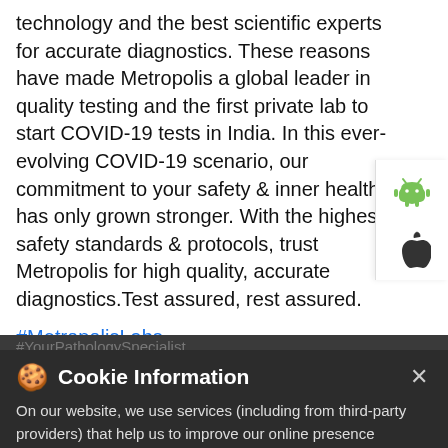technology and the best scientific experts for accurate diagnostics. These reasons have made Metropolis a global leader in quality testing and the first private lab to start COVID-19 tests in India. In this ever-evolving COVID-19 scenario, our commitment to your safety & inner health has only grown stronger. With the highest safety standards & protocols, trust Metropolis for high quality, accurate diagnostics.Test assured, rest assured.
#MetropolisLabs
#YourPathologySpecialist
#Health
#HygieneIs
#COVID19
#COVID19Test
Cookie Information
On our website, we use services (including from third-party providers) that help us to improve our online presence (optimization of website) and to display content that is geared to their interests. We need your consent before being able to use these services.
Call Us
Book Home Visit
I ACCEPT
Directions